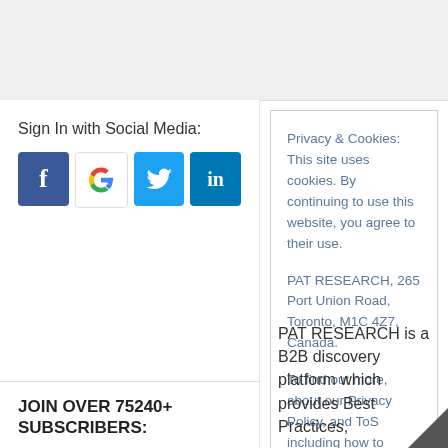Sign In with Social Media:
[Figure (infographic): Four social media login icons: Facebook (blue), Google (white with G logo), Twitter (light blue with bird), LinkedIn (blue with 'in')]
Privacy & Cookies: This site uses cookies. By continuing to use this website, you agree to their use.
PAT RESEARCH, 265 Port Union Road, Toronto, M1C 4Z7, Canada.
To find out more, about our Privacy Policy, and ToS including how to control cookies, see here: Privacy & Cookie P...
Close and accept
JOIN OVER 75240+ SUBSCRIBERS:
PAT RESEARCH is a B2B discovery platform which provides Best Practices,